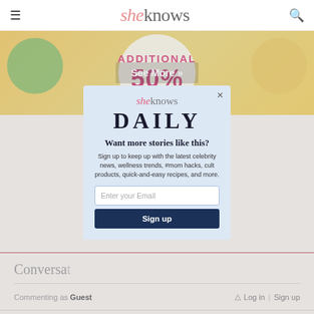sheknows
[Figure (screenshot): Promotional banner showing 'ADDITIONAL 50%' sale advertisement with colorful circular icons on yellow background, with 'See More »' overlay button]
[Figure (screenshot): Modal popup newsletter signup for SheKnows Daily with email input and Sign up button]
Conversations
Commenting as Guest   Log in | Sign up